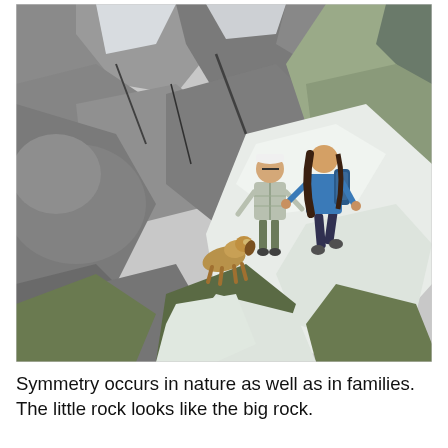[Figure (photo): Two hikers (one in a white/plaid shirt and white cap, one in a blue top with a backpack) walking down a rocky mountain slope covered with patches of snow. A tan/brown dog walks ahead of them on the trail. Large grey boulders and green grass are visible in the background.]
Symmetry occurs in nature as well as in families. The little rock looks like the big rock.